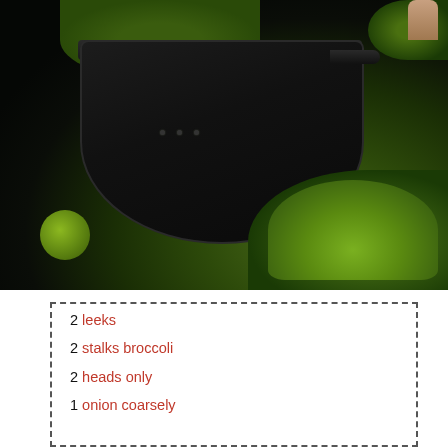[Figure (photo): Dark background photo of fresh broccoli florets in or near a dark colander/strainer, with green broccoli visible in top and bottom right areas, and a lime-green vegetable at bottom left. A finger/hand appears at top right.]
2 leeks
2 stalks broccoli
2 heads only
1 onion coarsely